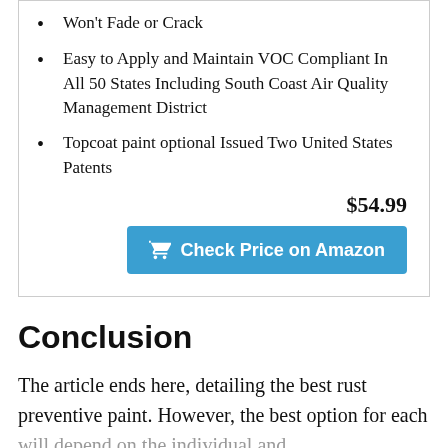Won't Fade or Crack
Easy to Apply and Maintain VOC Compliant In All 50 States Including South Coast Air Quality Management District
Topcoat paint optional Issued Two United States Patents
$54.99
Check Price on Amazon
Conclusion
The article ends here, detailing the best rust preventive paint. However, the best option for each will depend on the individual and...